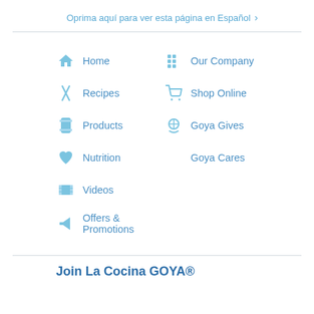Oprima aquí para ver esta página en Español ›
Home
Our Company
Recipes
Shop Online
Products
Goya Gives
Nutrition
Goya Cares
Videos
Offers & Promotions
Join La Cocina GOYA®